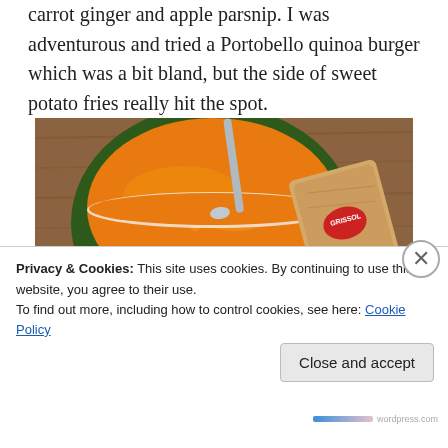carrot ginger and apple parsnip. I was adventurous and tried a Portobello quinoa burger which was a bit bland, but the side of sweet potato fries really hit the spot.
[Figure (photo): A bowl of orange soup (likely carrot ginger) with a spoon, served alongside a packaged Grissol breadstick, on a wooden tray.]
Privacy & Cookies: This site uses cookies. By continuing to use this website, you agree to their use. To find out more, including how to control cookies, see here: Cookie Policy